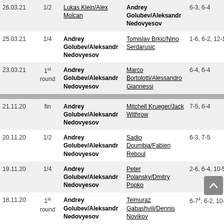| Date | Round | Winner | Loser | Score | Result |
| --- | --- | --- | --- | --- | --- |
| 26.03.21 | 1/2 | Andrey Golubev/Aleksandr Nedovyesov | Lukas Klein/Alex Molcan | 6-3, 6-4 | ❌ |
| 25.03.21 | 1/4 | Andrey Golubev/Aleksandr Nedovyesov | Tomislav Brkic/Nino Serdarusic | 1-6, 6-2, 12-10 | ✅ |
| 23.03.21 | 1st round | Andrey Golubev/Aleksandr Nedovyesov | Marco Bortolotti/Alessandro Giannessi | 6-4, 6-4 | ✅ |
| 21.11.20 | fin | Andrey Golubev/Aleksandr Nedovyesov | Mitchell Krueger/Jack Withrow | 7-5, 6-4 | ✅ |
| 20.11.20 | 1/2 | Andrey Golubev/Aleksandr Nedovyesov | Sadio Doumbia/Fabien Reboul | 6-3, 7-5 | ✅ |
| 19.11.20 | 1/4 | Andrey Golubev/Aleksandr Nedovyesov | Peter Polansky/Dmitry Popko | 2-6, 6-4, 10-5 | ✅ |
| 18.11.20 | 1st round | Andrey Golubev/Aleksandr Nedovyesov | Teimuraz Gabashvili/Dennis Novikov | 6-7⁴, 6-2, 10-5 | ✅ |
| 12.11.20 | 1/4 | Teimuraz Gabashvili/Dennis Novikov | Andrey Golubev/Aleksandr Nedovyesov | 4-6, 6-4, 10-3 | ❌ |